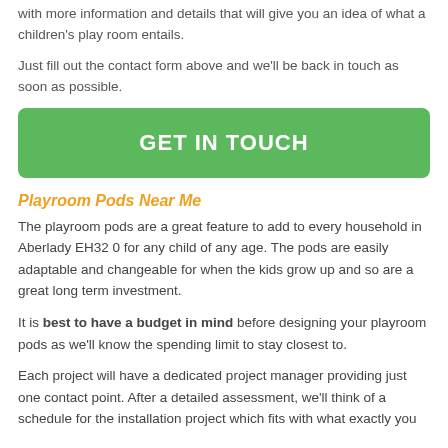with more information and details that will give you an idea of what a children's play room entails.
Just fill out the contact form above and we'll be back in touch as soon as possible.
[Figure (other): Green call-to-action button with white text: GET IN TOUCH]
Playroom Pods Near Me
The playroom pods are a great feature to add to every household in Aberlady EH32 0 for any child of any age. The pods are easily adaptable and changeable for when the kids grow up and so are a great long term investment.
It is best to have a budget in mind before designing your playroom pods as we'll know the spending limit to stay closest to.
Each project will have a dedicated project manager providing just one contact point. After a detailed assessment, we'll think of a schedule for the installation project which fits with what exactly you